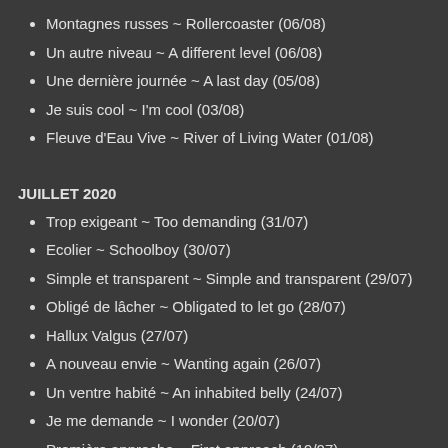Montagnes russes ~ Rollercoaster (06/08)
Un autre niveau ~ A different level (06/08)
Une dernière journée ~ A last day (05/08)
Je suis cool ~ I'm cool (03/08)
Fleuve d'Eau Vive ~ River of Living Water (01/08)
JUILLET 2020
Trop exigeant ~ Too demanding (31/07)
Ecolier ~ Schoolboy (30/07)
Simple et transparent ~ Simple and transparent (29/07)
Obligé de lâcher ~ Obligated to let go (28/07)
Hallux Valgus (27/07)
A nouveau envie ~ Wanting again (26/07)
Un ventre habité ~ An inhabited belly (24/07)
Je me demande ~ I wonder (20/07)
Première approche ~ First approach (19/07)
Mes polarités ~ My polarities (16/07)